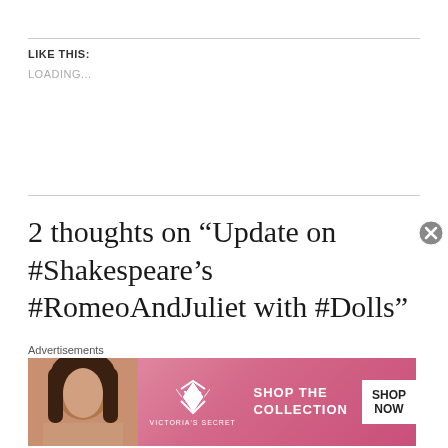LIKE THIS:
LOADING...
2 thoughts on “Update on #Shakespeare’s #RomeoAndJuliet with #Dolls”
[Figure (illustration): Purple and white checkerboard patterned avatar icon for user quinleytheelf]
quinleytheelf
Advertisements
[Figure (screenshot): Victoria's Secret advertisement banner with a woman's photo on left, VS logo in center, 'SHOP THE COLLECTION' text, and 'SHOP NOW' button on right, pink gradient background]